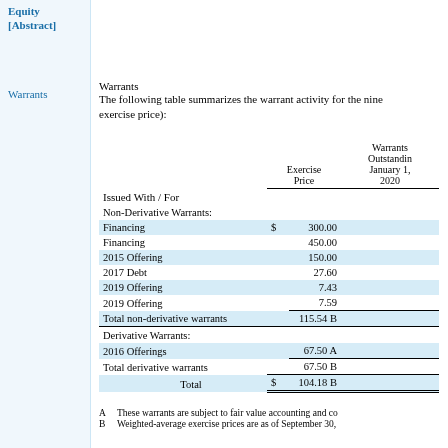Equity [Abstract]
Warrants
Warrants
The following table summarizes the warrant activity for the nine... exercise price):
| Issued With / For | Exercise Price | Warrants Outstanding January 1, 2020 |
| --- | --- | --- |
| Non-Derivative Warrants: |  |  |
| Financing | $ 300.00 |  |
| Financing | 450.00 |  |
| 2015 Offering | 150.00 |  |
| 2017 Debt | 27.60 |  |
| 2019 Offering | 7.43 |  |
| 2019 Offering | 7.59 |  |
| Total non-derivative warrants | 115.54 B |  |
| Derivative Warrants: |  |  |
| 2016 Offerings | 67.50 A |  |
| Total derivative warrants | 67.50 B |  |
| Total | $ 104.18 B |  |
A  These warrants are subject to fair value accounting and co...
B  Weighted-average exercise prices are as of September 30,...